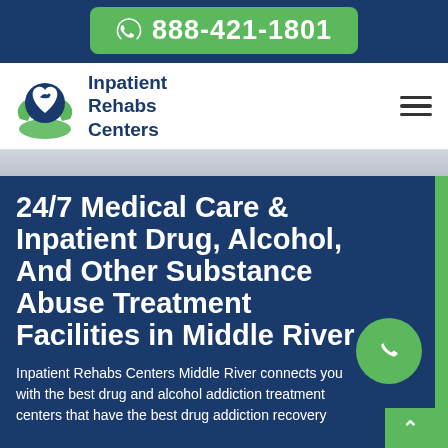888-421-1801
[Figure (logo): Inpatient Rehabs Centers logo with green hands cradling a blue heart with a dove]
Inpatient Rehabs Centers
24/7 Medical Care & Inpatient Drug, Alcohol, And Other Substance Abuse Treatment Facilities in Middle River
Inpatient Rehabs Centers Middle River connects you with the best drug and alcohol addiction treatment centers that have the best drug addiction recovery